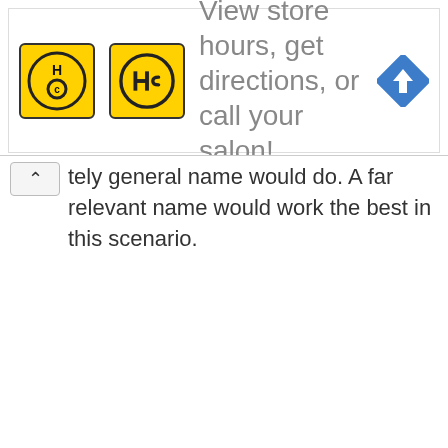[Figure (screenshot): Advertisement banner for HC salon showing yellow logo with HC text, ad text 'View store hours, get directions, or call your salon!', and a blue navigation diamond icon]
...tely general name would do. A far relevant name would work the best in this scenario.